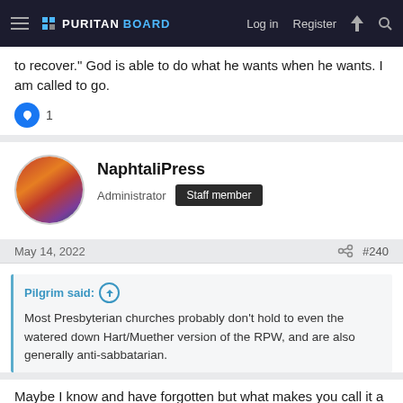PURITAN BOARD — Log in | Register
to recover." God is able to do what he wants when he wants. I am called to go.
👍 1
NaphtaliPress
Administrator  Staff member
May 14, 2022  #240
Pilgrim said: ↑

Most Presbyterian churches probably don't hold to even the watered down Hart/Muether version of the RPW, and are also generally anti-sabbatarian.
Maybe I know and have forgotten but what makes you call it a watered down version of the rpw?